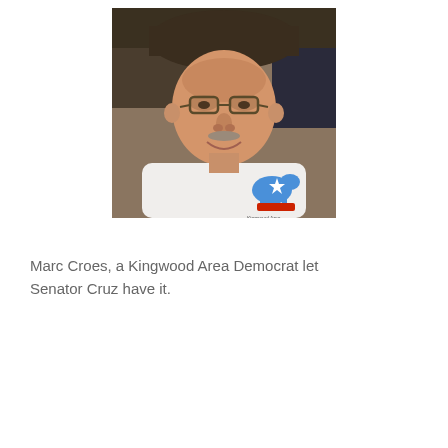[Figure (photo): Photo of Marc Croes, an older man wearing glasses and a dark hat, smiling, wearing a white t-shirt with a Kingwood Area Democrats logo (donkey with Texas flag colors).]
Marc Croes, a Kingwood Area Democrat let Senator Cruz have it.